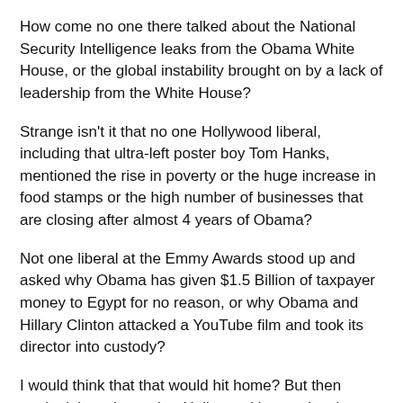How come no one there talked about the National Security Intelligence leaks from the Obama White House, or the global instability brought on by a lack of leadership from the White House?
Strange isn't it that no one Hollywood liberal, including that ultra-left poster boy Tom Hanks, mentioned the rise in poverty or the huge increase in food stamps or the high number of businesses that are closing after almost 4 years of Obama?
Not one liberal at the Emmy Awards stood up and asked why Obama has given $1.5 Billion of taxpayer money to Egypt for no reason, or why Obama and Hillary Clinton attacked a YouTube film and took its director into custody?
I would think that that would hit home? But then again, it just shows that Hollywood has no loyalty - not even to other film makers.
Instead of focusing on the real issues, Hollyweird is worried